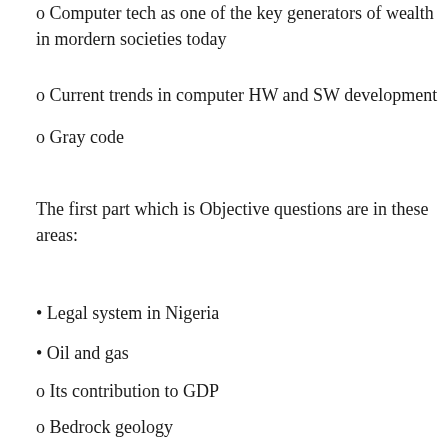o Computer tech as one of the key generators of wealth in mordern societies today
o Current trends in computer HW and SW development
o Gray code
The first part which is Objective questions are in these areas:
• Legal system in Nigeria
• Oil and gas
o Its contribution to GDP
o Bedrock geology
o When did Nigeria join OPEC
o OPEC headquarters